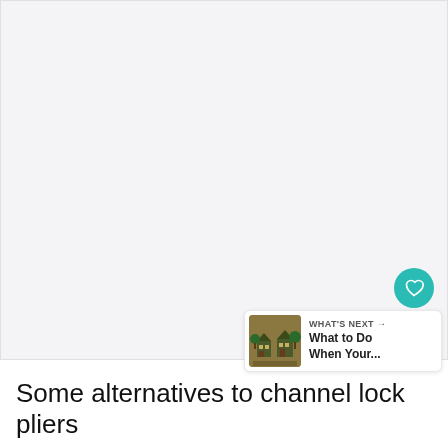[Figure (photo): Large blank/white image area at top of page, likely a placeholder for a photo of channel lock pliers or alternative tools]
[Figure (illustration): Heart (favorite) button — circular teal button with white heart icon]
[Figure (illustration): Share button — circular white button with share/add icon]
[Figure (infographic): WHAT'S NEXT panel with thumbnail image of a house, label 'WHAT'S NEXT →', and text 'What to Do When Your...']
Some alternatives to channel lock pliers